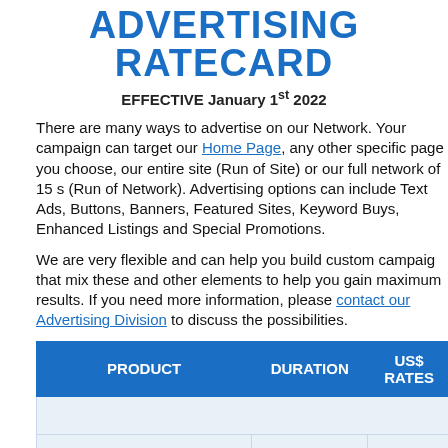ADVERTISING RATECARD
EFFECTIVE January 1st 2022
There are many ways to advertise on our Network. Your campaign can target our Home Page, any other specific page you choose, our entire site (Run of Site) or our full network of 15 sites (Run of Network). Advertising options can include Text Ads, Buttons, Banners, Featured Sites, Keyword Buys, Enhanced Listings and Special Promotions.
We are very flexible and can help you build custom campaigns that mix these and other elements to help you gain maximum results. If you need more information, please contact our Advertising Division to discuss the possibilities.
| PRODUCT | DURATION | US$ RATES |
| --- | --- | --- |
| TEXT-ONLY AD |  |  |
| Category Page | Per month | US$50 |
| Site Home Page | Per month | US$75 |
| Network Home Page | Per month | US$75 |